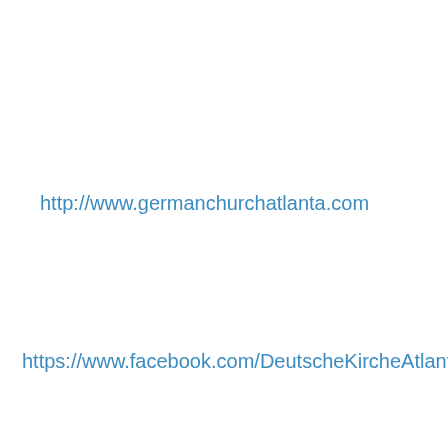http://www.germanchurchatlanta.com
https://www.facebook.com/DeutscheKircheAtlanta&lt